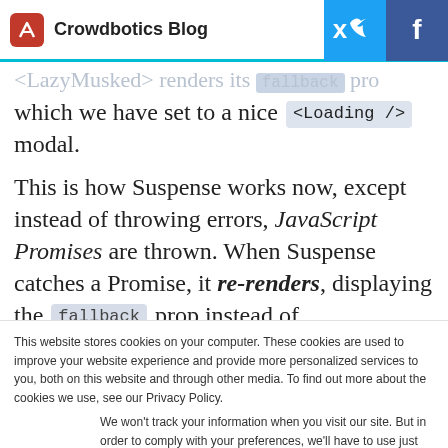Crowdbotics Blog
which we have set to a nice <Loading /> modal.
This is how Suspense works now, except instead of throwing errors, JavaScript Promises are thrown. When Suspense catches a Promise, it re-renders, displaying the fallback prop instead of
This website stores cookies on your computer. These cookies are used to improve your website experience and provide more personalized services to you, both on this website and through other media. To find out more about the cookies we use, see our Privacy Policy.
We won't track your information when you visit our site. But in order to comply with your preferences, we'll have to use just one tiny cookie so that you're not asked to make this choice again.